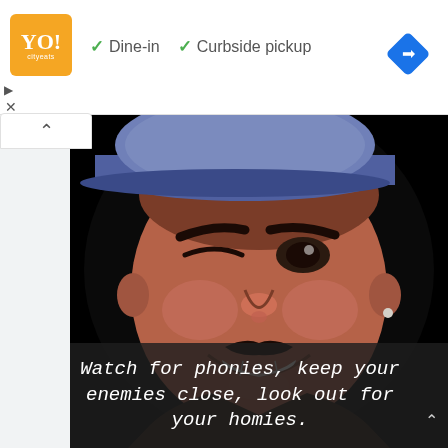[Figure (logo): Orange square logo with stylized text and smaller subtext]
✓ Dine-in  ✓ Curbside pickup
[Figure (illustration): Illustrated/vector portrait of a smiling person wearing a blue bandana cap, against a black background, with overlaid quote text: Watch for phonies, keep your enemies close, look out for your homies.]
Watch for phonies, keep your enemies close, look out for your homies.